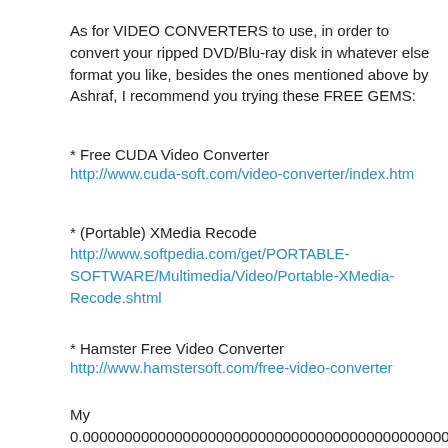As for VIDEO CONVERTERS to use, in order to convert your ripped DVD/Blu-ray disk in whatever else format you like, besides the ones mentioned above by Ashraf, I recommend you trying these FREE GEMS:
* Free CUDA Video Converter
http://www.cuda-soft.com/video-converter/index.htm
* (Portable) XMedia Recode
http://www.softpedia.com/get/PORTABLE-SOFTWARE/Multimedia/Video/Portable-XMedia-Recode.shtml
* Hamster Free Video Converter
http://www.hamstersoft.com/free-video-converter
My
0.00000000000000000000000000000000000000000000000...
cents!!